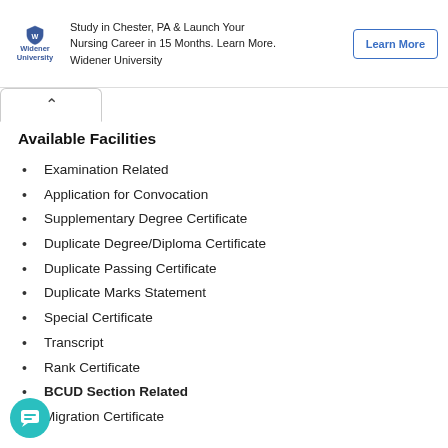[Figure (other): Widener University advertisement banner with logo, text 'Study in Chester, PA & Launch Your Nursing Career in 15 Months. Learn More. Widener University' and a 'Learn More' button]
Available Facilities
Examination Related
Application for Convocation
Supplementary Degree Certificate
Duplicate Degree/Diploma Certificate
Duplicate Passing Certificate
Duplicate Marks Statement
Special Certificate
Transcript
Rank Certificate
BCUD Section Related
Migration Certificate